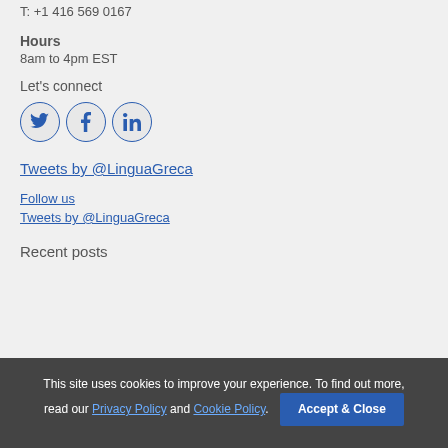T: +1 416 569 0167
Hours
8am to 4pm EST
Let's connect
[Figure (other): Three circular social media icons: Twitter (bird), Facebook (f), LinkedIn (in)]
Tweets by @LinguaGreca
Follow us
Tweets by @LinguaGreca
Recent posts
This site uses cookies to improve your experience. To find out more, read our Privacy Policy and Cookie Policy.